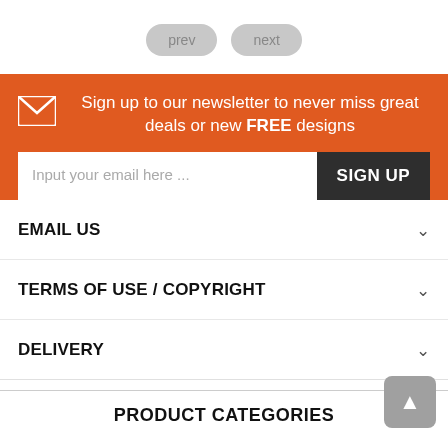prev   next
Sign up to our newsletter to never miss great deals or new FREE designs
Input your email here ...
SIGN UP
EMAIL US
TERMS OF USE / COPYRIGHT
DELIVERY
PRODUCT CATEGORIES